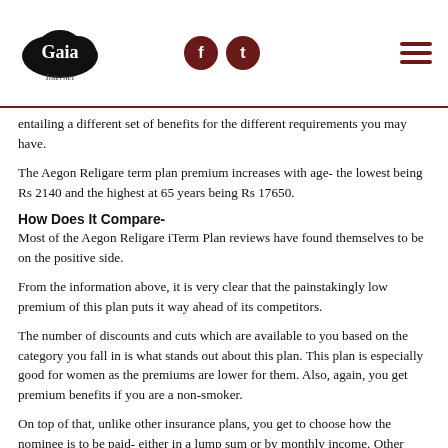Gaia Internet | f | t | menu
entailing a different set of benefits for the different requirements you may have.
The Aegon Religare term plan premium increases with age- the lowest being Rs 2140 and the highest at 65 years being Rs 17650.
How Does It Compare-
Most of the Aegon Religare iTerm Plan reviews have found themselves to be on the positive side.
From the information above, it is very clear that the painstakingly low premium of this plan puts it way ahead of its competitors.
The number of discounts and cuts which are available to you based on the category you fall in is what stands out about this plan. This plan is especially good for women as the premiums are lower for them. Also, again, you get premium benefits if you are a non-smoker.
On top of that, unlike other insurance plans, you get to choose how the nominee is to be paid- either in a lump sum or by monthly income. Other plans seldom have this option.
The riders are too good of an upgrade to your insurance plan. On other